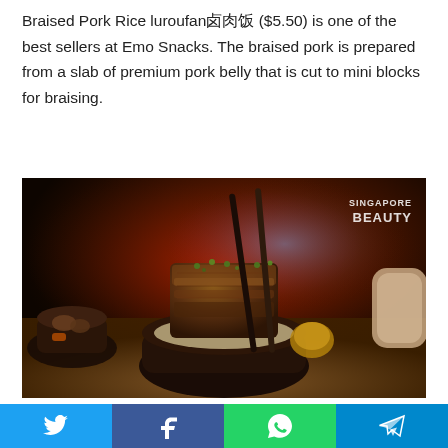Braised Pork Rice luroufan卤肉饭 ($5.50) is one of the best sellers at Emo Snacks. The braised pork is prepared from a slab of premium pork belly that is cut to mini blocks for braising.
[Figure (photo): A bowl of braised pork rice with a large slab of braised pork belly on top of rice, garnished with green onions, with chopsticks inserted. A side bowl with braised items is visible on the left. Singapore Beauty watermark in top right corner.]
They also have another braised pork belly rice 猪肉 ($5.90) for those who prefer a bigger chew.
Twitter | Facebook | WhatsApp | Telegram